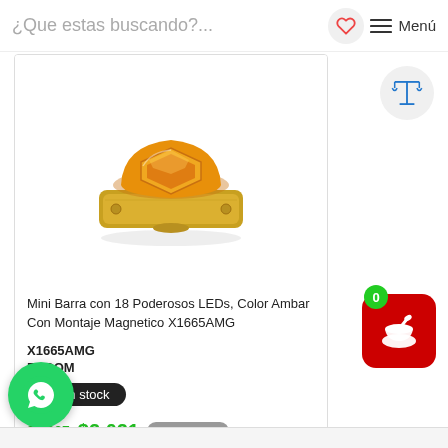¿Que estas buscando?...  Menú
[Figure (photo): Mini amber LED light bar product photo - hexagonal amber/gold colored emergency light bar with magnetic mount]
Mini Barra con 18 Poderosos LEDs, Color Ambar Con Montaje Magnetico X1665AMG
X1665AMG
EPCOM
47 en stock
$2,027  $2,021  IVA Incluido
1  Comprar